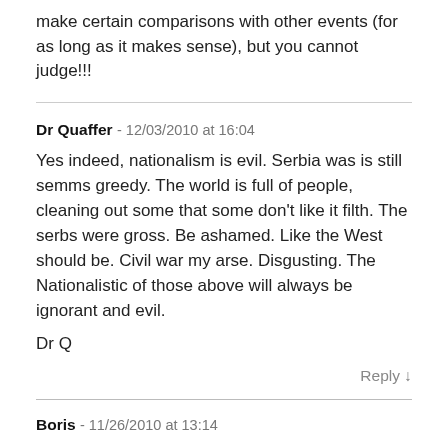make certain comparisons with other events (for as long as it makes sense), but you cannot judge!!!
Dr Quaffer - 12/03/2010 at 16:04
Yes indeed, nationalism is evil. Serbia was is still semms greedy. The world is full of people, cleaning out some that some don't like it filth. The serbs were gross. Be ashamed. Like the West should be. Civil war my arse. Disgusting. The Nationalistic of those above will always be ignorant and evil.

Dr Q
Reply ↓
Boris - 11/26/2010 at 13:14
Carlos,
if you don't like context of this web site in regard to former Yugoslavia you are free no to be here. Let people here